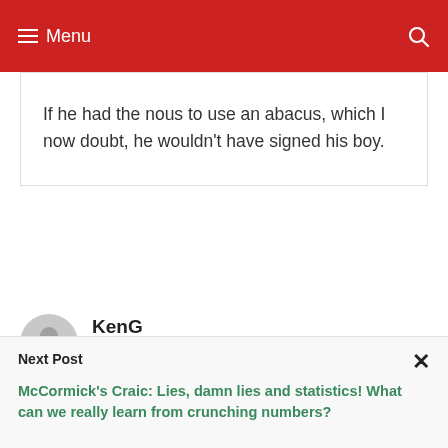Menu
If he had the nous to use an abacus, which I now doubt, he wouldn't have signed his boy.
KenG
July 30, 2012 at 4:03 pm
Next Post
McCormick's Craic: Lies, damn lies and statistics! What can we really learn from crunching numbers?